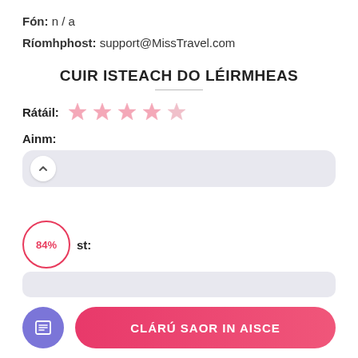Fón: n / a
Ríomhphost: support@MissTravel.com
CUIR ISTEACH DO LÉIRMHEAS
Rátáil: ★★★★★ (5 pink stars)
Ainm:
[Figure (infographic): Input field with upward chevron button and a circular badge showing 84% in red]
84%  st:
[Figure (screenshot): Gray rounded input box (partially visible)]
CLÁRÚ SAOR IN AISCE